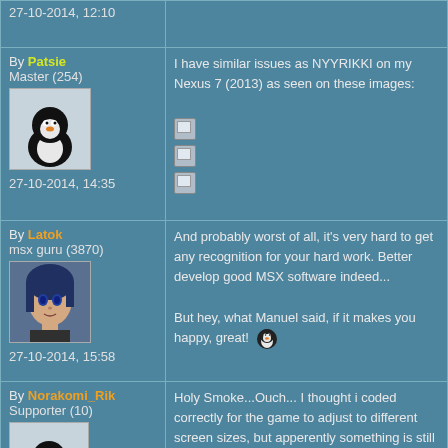27-10-2014, 12:10
By Patsie
Master (254)
27-10-2014, 14:35
I have similar issues as NYYRIKKI on my Nexus 7 (2013) as seen on these images: [image] [image] [image]
By Latok
msx guru (3870)
27-10-2014, 15:58
And probably worst of all, it's very hard to get any recognition for your hard work. Better develop good MSX software indeed...

But hey, what Manuel said, if it makes you happy, great! 🐧
By Norakomi_Rik
Supporter (10)
27-10-2014, 17:02
Holy Smoke...Ouch... I thought i coded correctly for the game to adjust to different screen sizes, but apperently something is still wrong. I'll address to that asap.

Thanks for the feedback and screenshots.
As for "developing good msx software...", that's up to my brother.